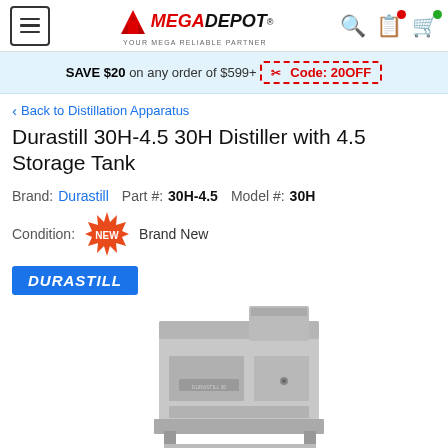MEGADEPOT® YOUR MEGA RELIABLE PARTNER
SAVE $20 on any order of $599+ Code: 20OFF
< Back to Distillation Apparatus
Durastill 30H-4.5 30H Distiller with 4.5 Storage Tank
Brand: Durastill  Part #: 30H-4.5  Model #: 30H
Condition: NEW Brand New
[Figure (logo): Durastill brand logo in blue rectangle with white italic text]
[Figure (photo): Durastill 30H distiller unit - silver/grey metal box appliance with storage tank]